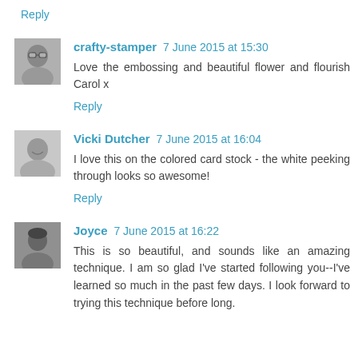Reply
[Figure (photo): Avatar photo of crafty-stamper: elderly person in glasses, grayscale thumbnail]
crafty-stamper 7 June 2015 at 15:30
Love the embossing and beautiful flower and flourish Carol x
Reply
[Figure (photo): Avatar photo of Vicki Dutcher: woman smiling, grayscale thumbnail]
Vicki Dutcher 7 June 2015 at 16:04
I love this on the colored card stock - the white peeking through looks so awesome!
Reply
[Figure (photo): Avatar photo of Joyce: person with dark hair, grayscale thumbnail]
Joyce 7 June 2015 at 16:22
This is so beautiful, and sounds like an amazing technique. I am so glad I've started following you--I've learned so much in the past few days. I look forward to trying this technique before long.